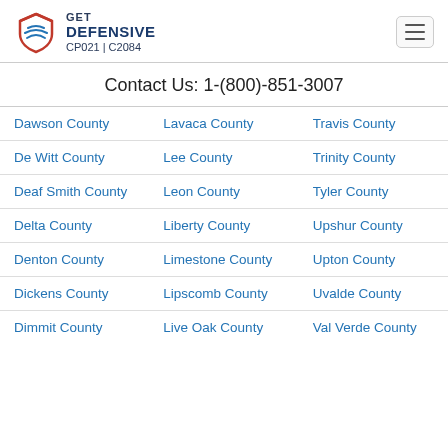GET DEFENSIVE CP021 | C2084
Contact Us: 1-(800)-851-3007
| Column 1 | Column 2 | Column 3 |
| --- | --- | --- |
| Dawson County | Lavaca County | Travis County |
| De Witt County | Lee County | Trinity County |
| Deaf Smith County | Leon County | Tyler County |
| Delta County | Liberty County | Upshur County |
| Denton County | Limestone County | Upton County |
| Dickens County | Lipscomb County | Uvalde County |
| Dimmit County | Live Oak County | Val Verde County |